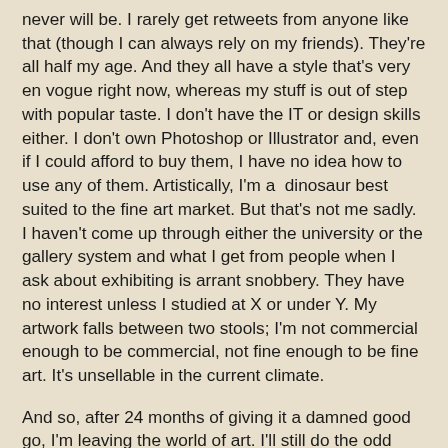never will be. I rarely get retweets from anyone like that (though I can always rely on my friends). They're all half my age. And they all have a style that's very en vogue right now, whereas my stuff is out of step with popular taste. I don't have the IT or design skills either. I don't own Photoshop or Illustrator and, even if I could afford to buy them, I have no idea how to use any of them. Artistically, I'm a  dinosaur best suited to the fine art market. But that's not me sadly. I haven't come up through either the university or the gallery system and what I get from people when I ask about exhibiting is arrant snobbery. They have no interest unless I studied at X or under Y. My artwork falls between two stools; I'm not commercial enough to be commercial, not fine enough to be fine art. It's unsellable in the current climate.
And so, after 24 months of giving it a damned good go, I'm leaving the world of art. I'll still do the odd commission if people ask me. And I'll probably still draw and paint for pleasure. But I will scale it right back. It takes up a lot of my time - an average painting takes me 3-4 days at least. And that's time I could be using more profitably. After 30 years as a cop, and with all of the visceral reality that the job entailed,